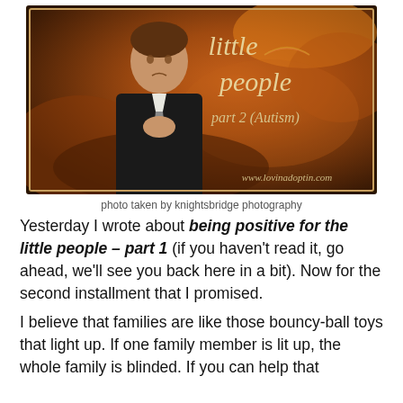[Figure (photo): A young boy dressed in a black suit with hands clasped, looking upward, against an autumn background. Text overlay reads 'little people part 2 (Autism)' and 'www.lovinadoptin.com']
photo taken by knightsbridge photography
Yesterday I wrote about being positive for the little people – part 1 (if you haven't read it, go ahead, we'll see you back here in a bit). Now for the second installment that I promised.
I believe that families are like those bouncy-ball toys that light up. If one family member is lit up, the whole family is blinded. If you can help that